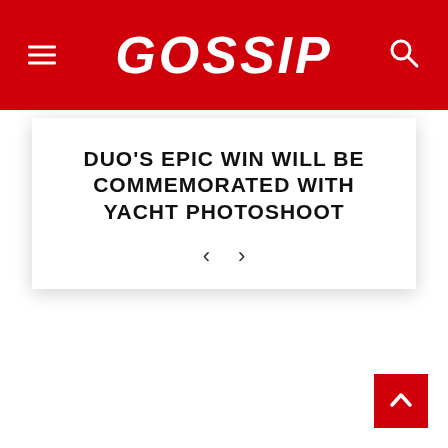GOSSIP
DUO'S EPIC WIN WILL BE COMMEMORATED WITH YACHT PHOTOSHOOT
[Figure (other): Back to top button with upward chevron arrow in red square, bottom right corner]